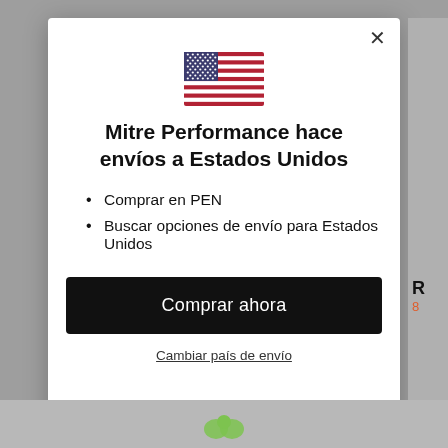[Figure (screenshot): US flag emoji/icon centered at top of modal]
Mitre Performance hace envíos a Estados Unidos
Comprar en PEN
Buscar opciones de envío para Estados Unidos
Comprar ahora
Cambiar país de envío
USD